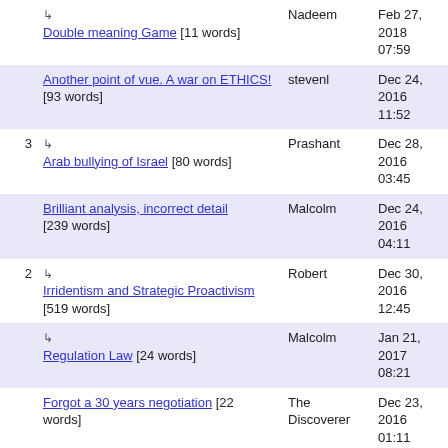|  | Title | Author | Date |
| --- | --- | --- | --- |
|  | ↳ Double meaning Game [11 words] | Nadeem | Feb 27, 2018 07:59 |
|  | Another point of vue. A war on ETHICS! [93 words] | stevenl | Dec 24, 2016 11:52 |
| 3 | ↳ Arab bullying of Israel [80 words] | Prashant | Dec 28, 2016 03:45 |
|  | Brilliant analysis, incorrect detail [239 words] | Malcolm | Dec 24, 2016 04:11 |
| 2 | ↳ Irridentism and Strategic Proactivism [519 words] | Robert | Dec 30, 2016 12:45 |
|  | ↳ Regulation Law [24 words] | Malcolm | Jan 21, 2017 08:21 |
|  | Forgot a 30 years negotiation [22 words] | The Discoverer | Dec 23, 2016 01:11 |
| 1 | Moral responsibility [197 words] | Vadim Anshelevich | Dec 22, 2016 23:27 |
|  | We should rename our country | sabasarge | Dec 22, |